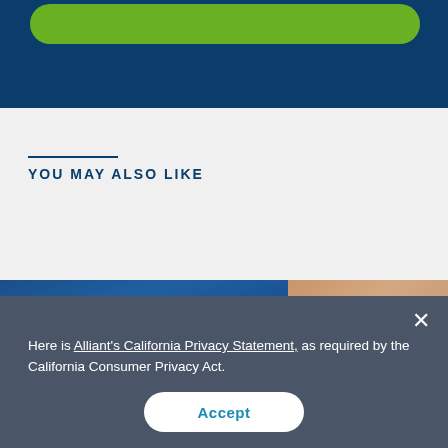[Figure (screenshot): Dark blue website header bar with a green rounded button/banner at the top]
YOU MAY ALSO LIKE
[Figure (photo): Partial photo showing a person in a blue fabric/shirt with a skin-toned arm visible on the right]
Here is Alliant's California Privacy Statement, as required by the California Consumer Privacy Act.
Accept